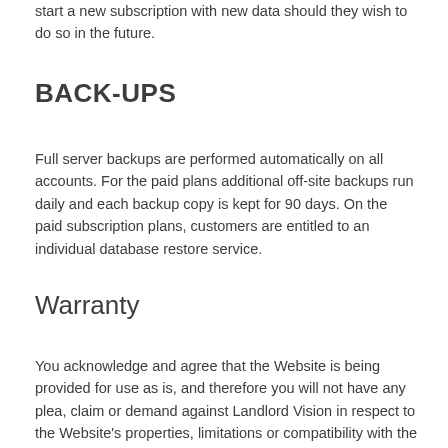start a new subscription with new data should they wish to do so in the future.
BACK-UPS
Full server backups are performed automatically on all accounts. For the paid plans additional off-site backups run daily and each backup copy is kept for 90 days. On the paid subscription plans, customers are entitled to an individual database restore service.
Warranty
You acknowledge and agree that the Website is being provided for use as is, and therefore you will not have any plea, claim or demand against Landlord Vision in respect to the Website's properties, limitations or compatibility with the your needs. The use of the Website is accordingly being made at the your sole and entire risk, without warranties of